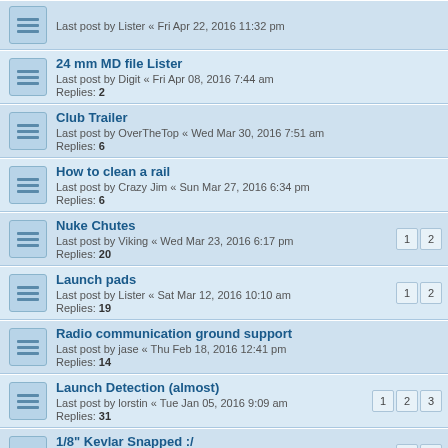24 mm MD file Lister
Last post by Digit « Fri Apr 08, 2016 7:44 am
Replies: 2
Club Trailer
Last post by OverTheTop « Wed Mar 30, 2016 7:51 am
Replies: 6
How to clean a rail
Last post by Crazy Jim « Sun Mar 27, 2016 6:34 pm
Replies: 6
Nuke Chutes
Last post by Viking « Wed Mar 23, 2016 6:17 pm
Replies: 20
Launch pads
Last post by Lister « Sat Mar 12, 2016 10:10 am
Replies: 19
Radio communication ground support
Last post by jase « Thu Feb 18, 2016 12:41 pm
Replies: 14
Launch Detection (almost)
Last post by lorstin « Tue Jan 05, 2016 9:09 am
Replies: 31
1/8" Kevlar Snapped :/
Last post by Lister « Tue Nov 03, 2015 10:01 am
Replies: 16
What happens if a parachute is too small for a rocket?
Last post by Lister « Wed Sep 30, 2015 9:17 pm
Replies: 10